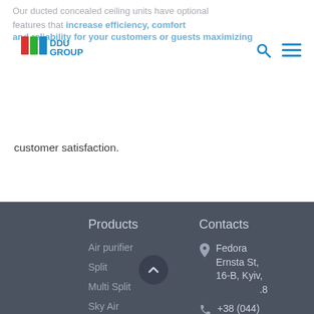[Figure (logo): DDU Group company logo with red/green/blue stripe icon and blue bold text]
Our ducted concealed ceiling units have optional features that increase efficiency, comfort and reliability for your customers or guests maximizing customer satisfaction.
Products
Contacts
Air purifier
Split
Multi Split
Sky Air
Fedora Ernsta St, 16-B, Kyiv, ...8
+38 (044)